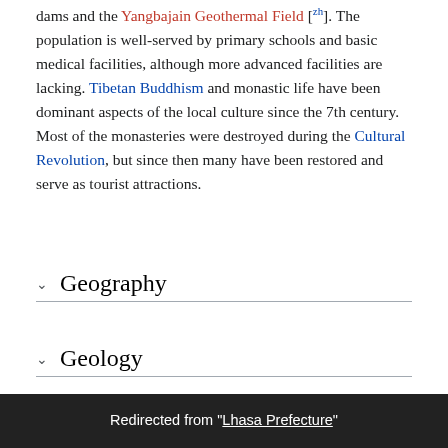dams and the Yangbajain Geothermal Field [zh]. The population is well-served by primary schools and basic medical facilities, although more advanced facilities are lacking. Tibetan Buddhism and monastic life have been dominant aspects of the local culture since the 7th century. Most of the monasteries were destroyed during the Cultural Revolution, but since then many have been restored and serve as tourist attractions.
Geography
Geology
C
Redirected from "Lhasa Prefecture"